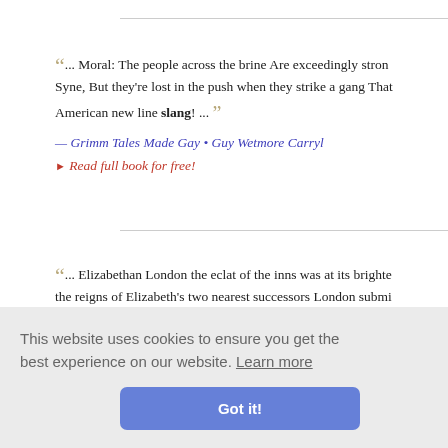... Moral: The people across the brine Are exceedingly strong on Auld Lang Syne, But they're lost in the push when they strike a gang That American new line slang! ...
— Grimm Tales Made Gay • Guy Wetmore Carryl
▸ Read full book for free!
... Elizabethan London the eclat of the inns was at its brightest during the reigns of Elizabeth's two nearest successors London submitted to the Inns-of-Court men as arbiters of all matters pertaining to taste—copy, slang, amusements, and vices. The same may be said, with less force, of Charles II.'s London. Under the 'Merry Monarch' theatrical man... ...hat no pla...
This website uses cookies to ensure you get the best experience on our website. Learn more
Got it!
...was the m... who had begun brokenly to unfold the history of his shame. The...